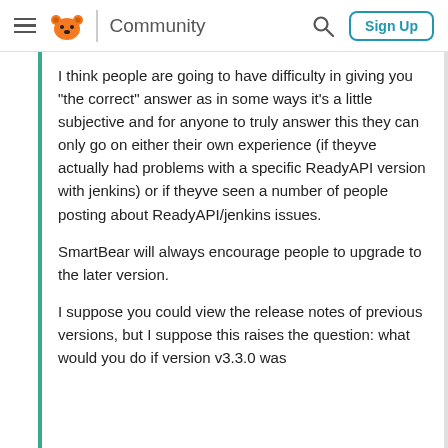Community  Sign Up
I think people are going to have difficulty in giving you "the correct" answer as in some ways it's a little subjective and for anyone to truly answer this they can only go on either their own experience (if theyve actually had problems with a specific ReadyAPI version with jenkins) or if theyve seen a number of people posting about ReadyAPI/jenkins issues.
SmartBear will always encourage people to upgrade to the later version.
I suppose you could view the release notes of previous versions, but I suppose this raises the question: what would you do if version v3.3.0 was